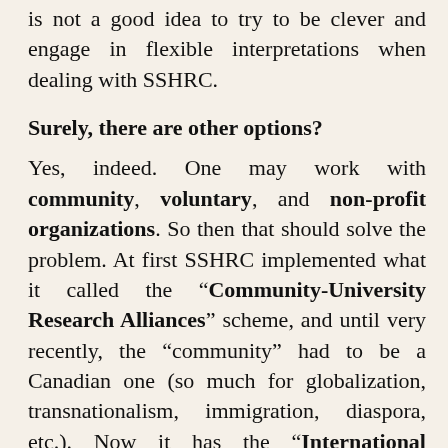is not a good idea to try to be clever and engage in flexible interpretations when dealing with SSHRC.
Surely, there are other options?
Yes, indeed. One may work with community, voluntary, and non-profit organizations. So then that should solve the problem. At first SSHRC implemented what it called the “Community-University Research Alliances” scheme, and until very recently, the “community” had to be a Canadian one (so much for globalization, transnationalism, immigration, diaspora, etc.). Now it has the “International Community-Universit